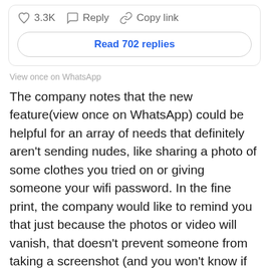[Figure (screenshot): Social media post action bar with heart icon showing 3.3K likes, Reply button, and Copy link button, plus a 'Read 702 replies' button]
View once on WhatsApp
The company notes that the new feature(view once on WhatsApp) could be helpful for an array of needs that definitely aren't sending nudes, like sharing a photo of some clothes you tried on or giving someone your wifi password. In the fine print, the company would like to remind you that just because the photos or video will vanish, that doesn't prevent someone from taking a screenshot (and you won't know if they do).
Facebook has made a few gestures toward letting people wrest control of their online privacy since then, streamlining audience controls on its core app